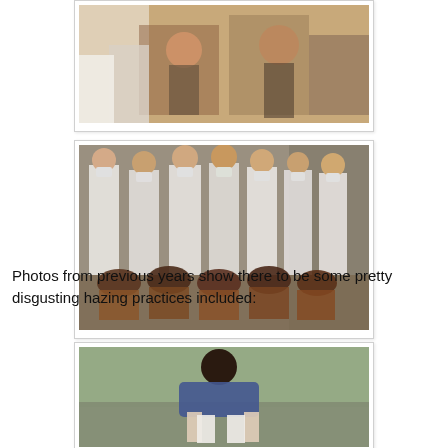[Figure (photo): Partially visible photo at top of page showing people in an outdoor hazing scene]
[Figure (photo): Photo of group of people in white protective gowns and masks standing over others who are bowing/kneeling, appearing to depict hazing]
Photos from previous years show there to be some pretty disgusting hazing practices included:
[Figure (photo): Partial photo at bottom showing a person bending over in what appears to be a hazing context]